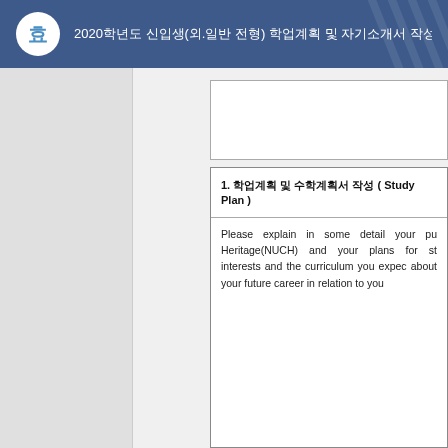2020학년도 신입생(외.일반 전형) 학업계획 및 자기소개서 작성양식.hwp
1. 학업계획 및 수학계획서 작성 ( Study Plan )
Please explain in some detail your purpose for studying at the National University of Cultural Heritage(NUCH) and your plans for study at NUCH. Please explain your academic interests and the curriculum you expect to take at NUCH. Please also tell us about your future career in relation to your study at NUCH.